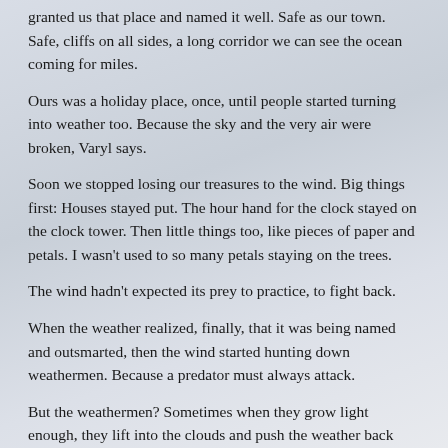granted us that place and named it well. Safe as our town. Safe, cliffs on all sides, a long corridor we can see the ocean coming for miles.
Ours was a holiday place, once, until people started turning into weather too. Because the sky and the very air were broken, Varyl says.
Soon we stopped losing our treasures to the wind. Big things first: Houses stayed put. The hour hand for the clock stayed on the clock tower. Then little things too, like pieces of paper and petals. I wasn't used to so many petals staying on the trees.
The wind hadn't expected its prey to practice, to fight back.
When the weather realized, finally, that it was being named and outsmarted, then the wind started hunting down weathermen. Because a predator must always attack.
But the weathermen? Sometimes when they grow light enough, they lift into the clouds and push the weather back from up high.
“And through the hole they leave behind,” Varyl whispers. Half asleep, I can barely hear her. “You can see the sky blue as the